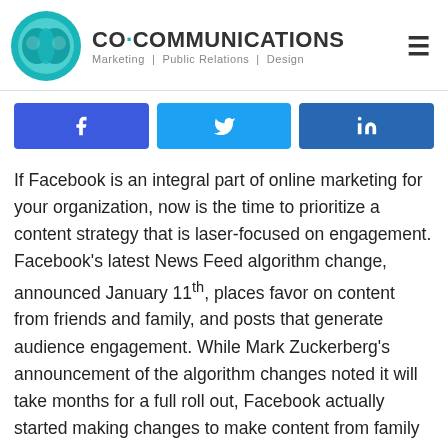CO·COMMUNICATIONS Marketing | Public Relations | Design
[Figure (logo): CO·COMMUNICATIONS logo with teal circular icon and brand name with tagline]
[Figure (infographic): Social share bar with Facebook, Twitter, and LinkedIn buttons]
If Facebook is an integral part of online marketing for your organization, now is the time to prioritize a content strategy that is laser-focused on engagement. Facebook's latest News Feed algorithm change, announced January 11th, places favor on content from friends and family, and posts that generate audience engagement. While Mark Zuckerberg's announcement of the algorithm changes noted it will take months for a full roll out, Facebook actually started making changes to make content from family and friends more prominent in news feeds at the end of 2017.